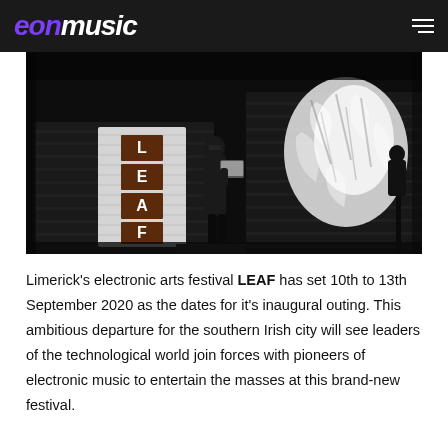eon music
[Figure (photo): Night-time photo of a person standing on a stage or elevated platform holding a laptop, with a large projected display showing the LEAF festival logo (letters L, E, A, F stacked vertically) on a shipping container, and a bright abstract white light projection to the right. Dark outdoor setting.]
Limerick's electronic arts festival LEAF has set 10th to 13th September 2020 as the dates for it's inaugural outing. This ambitious departure for the southern Irish city will see leaders of the technological world join forces with pioneers of electronic music to entertain the masses at this brand-new festival.